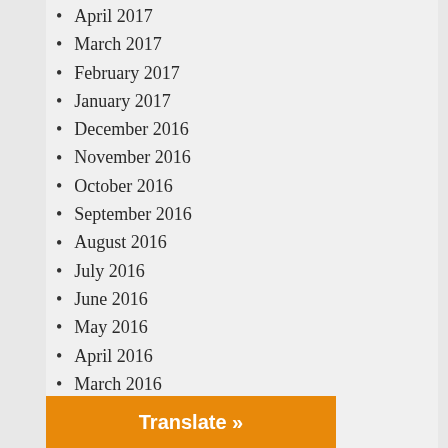April 2017
March 2017
February 2017
January 2017
December 2016
November 2016
October 2016
September 2016
August 2016
July 2016
June 2016
May 2016
April 2016
March 2016
February 2016
January 2016
December 2015
November 2015
Translate »